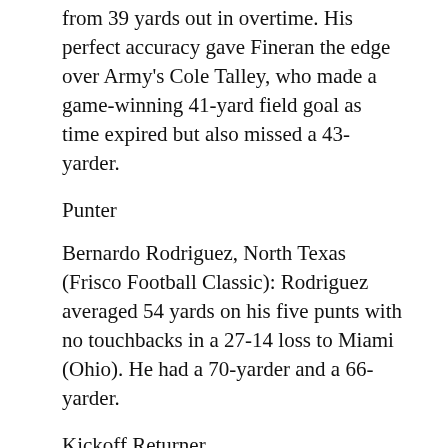from 39 yards out in overtime. His perfect accuracy gave Fineran the edge over Army's Cole Talley, who made a game-winning 41-yard field goal as time expired but also missed a 43-yarder.
Punter
Bernardo Rodriguez, North Texas (Frisco Football Classic): Rodriguez averaged 54 yards on his five punts with no touchbacks in a 27-14 loss to Miami (Ohio). He had a 70-yarder and a 66-yarder.
Kickoff Returner
Britain Covey, Utah (Rose): Covey scored on a 97-yard kickoff return. Old Dominion's LaMareon James, Western Michigan's Sean Tyler and Louisville's Jawar Jordan all scored on 100-yard kickoff returns in their bowl games. Covey gets the nod because he also scored a touchdown on offense and had three catches